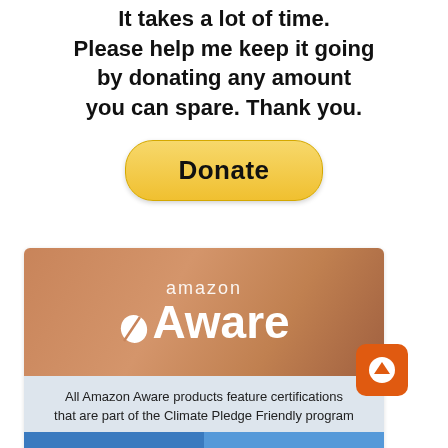It takes a lot of time. Please help me keep it going by donating any amount you can spare. Thank you.
[Figure (other): Yellow PayPal Donate button with rounded pill shape]
[Figure (other): Amazon Aware advertisement banner showing skin-toned background with 'amazon Aware' text in white, below which is a light blue section stating 'All Amazon Aware products feature certifications that are part of the Climate Pledge Friendly program' with Climate Pledge Friendly logo]
[Figure (other): Orange square scroll-to-top button with upward arrow icon]